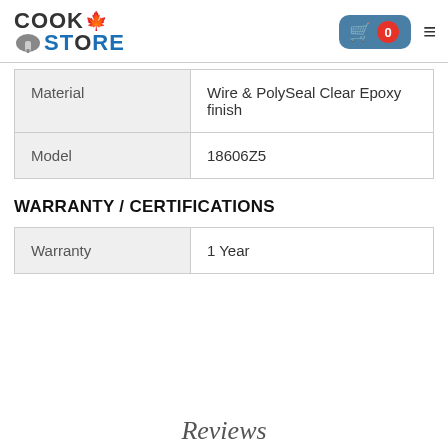[Figure (logo): CookStore logo with maple leaf and spatula icon, blue and dark grey text]
| Material | Wire & PolySeal Clear Epoxy finish |
| Model | 18606Z5 |
WARRANTY / CERTIFICATIONS
| Warranty | 1 Year |
Reviews